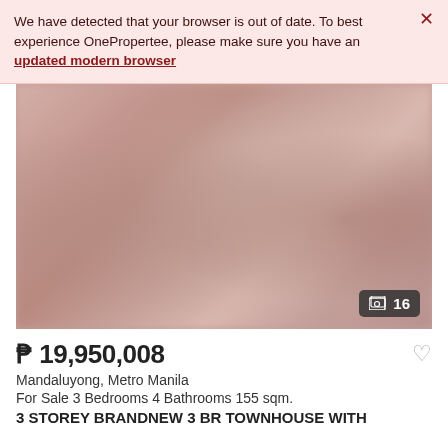We have detected that your browser is out of date. To best experience OnePropertee, please make sure you have an updated modern browser
[Figure (photo): Blurred interior photo of a furnished living/bedroom area in warm pink and brown tones, showing furniture and decor. Image counter badge showing 16 photos.]
₱ 19,950,008
Mandaluyong, Metro Manila
For Sale 3 Bedrooms 4 Bathrooms 155 sqm.
3 STOREY BRANDNEW 3 BR TOWNHOUSE WITH